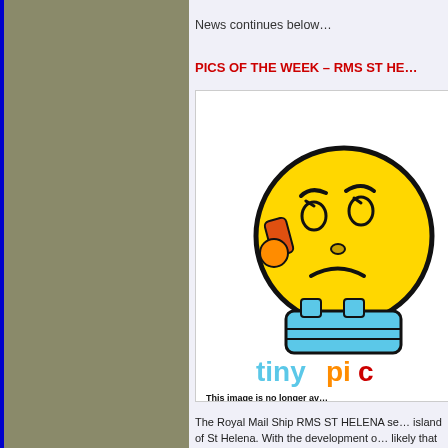News continues below…
PICS OF THE WEEK – RMS ST HE…
[Figure (illustration): Tinypic.com placeholder image showing a sad yellow emoji face holding a phone with blue overalls and the tinypic logo, text: 'This image is no longer a… Visit tinypic.com for more i…']
The Royal Mail Ship RMS ST HELENA se… island of St Helena. With the development o… likely that the days of this ship plying a regg…